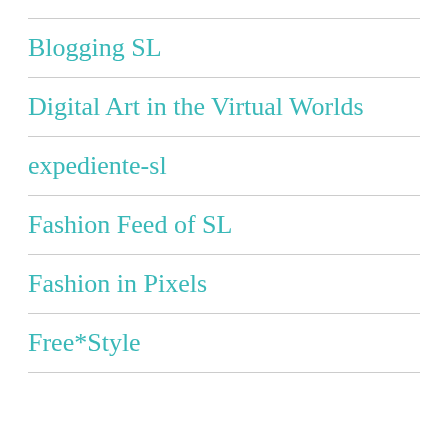Blogging SL
Digital Art in the Virtual Worlds
expediente-sl
Fashion Feed of SL
Fashion in Pixels
Free*Style